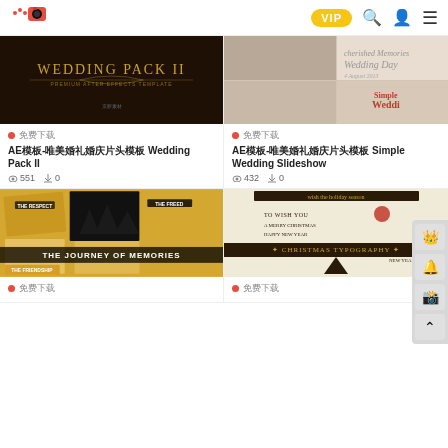VIP
[Figure (screenshot): Wedding Pack II dark golden AE template thumbnail]
AE模板-唯美婚礼婚庆片头模板 Wedding Pack II
◎ 551  ↓ 0
[Figure (screenshot): Simple Wedding Slideshow AE template thumbnail with couple photos]
AE模板-唯美婚礼婚庆片头模板 Simple Wedding Slideshow
◎ 432  ↓ 0
[Figure (screenshot): The Journey of Memories AE template thumbnail with photo collage]
[Figure (screenshot): Christmas Typography AE template thumbnail with holiday design]